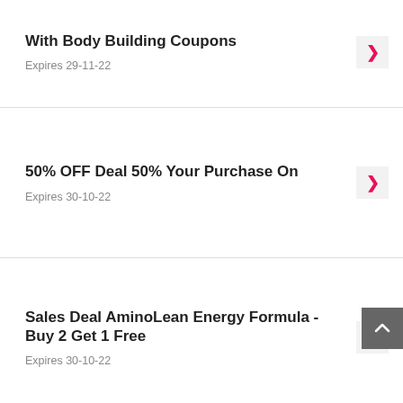With Body Building Coupons
Expires 29-11-22
50% OFF Deal 50% Your Purchase On
Expires 30-10-22
Sales Deal AminoLean Energy Formula - Buy 2 Get 1 Free
Expires 30-10-22
Up To 5% Off All Orders & More | BodyFit Access